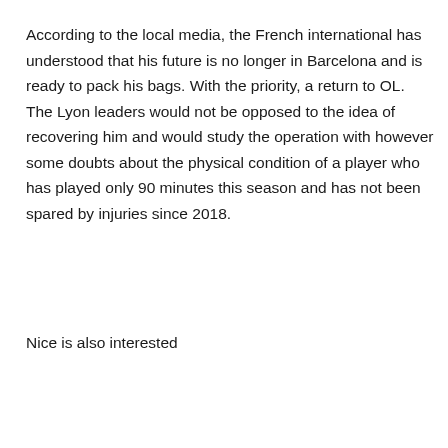According to the local media, the French international has understood that his future is no longer in Barcelona and is ready to pack his bags. With the priority, a return to OL. The Lyon leaders would not be opposed to the idea of recovering him and would study the operation with however some doubts about the physical condition of a player who has played only 90 minutes this season and has not been spared by injuries since 2018.
Nice is also interested